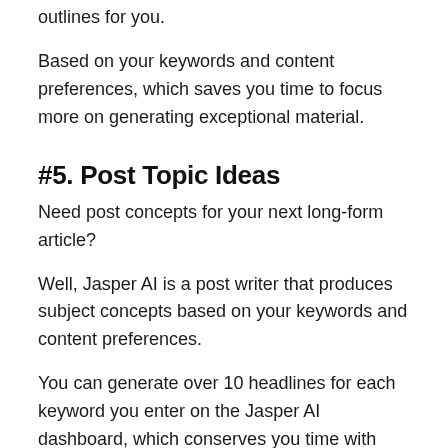outlines for you.
Based on your keywords and content preferences, which saves you time to focus more on generating exceptional material.
#5. Post Topic Ideas
Need post concepts for your next long-form article?
Well, Jasper AI is a post writer that produces subject concepts based on your keywords and content preferences.
You can generate over 10 headlines for each keyword you enter on the Jasper AI dashboard, which conserves you time with creative block.